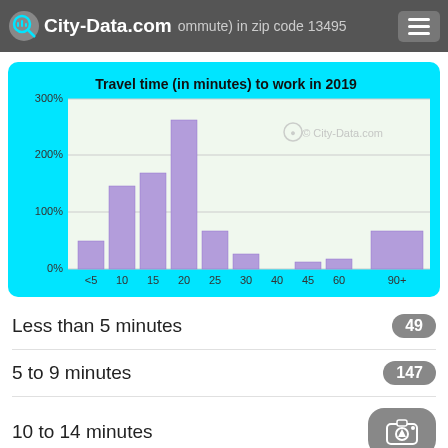City-Data.com — (commute) in zip code 13495
[Figure (histogram): Travel time (in minutes) to work in 2019]
Less than 5 minutes — 49
5 to 9 minutes — 147
10 to 14 minutes
15 to 19 minutes — 257